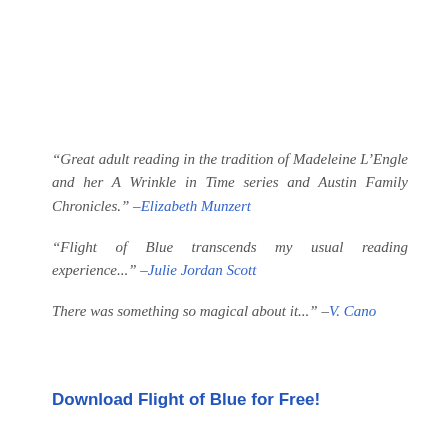“Great adult reading in the tradition of Madeleine L’Engle and her A Wrinkle in Time series and Austin Family Chronicles.” –Elizabeth Munzert
“Flight of Blue transcends my usual reading experience...” –Julie Jordan Scott
There was something so magical about it...” –V. Cano
Download Flight of Blue for Free!